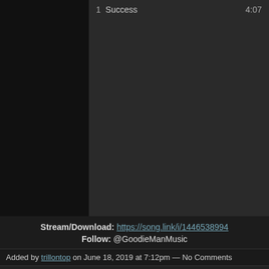1   Success   4:07
Stream/Download: https://song.link/i/1446538994
Follow: @GoodieManMusic
Added by trillontop on June 18, 2019 at 7:12pm — No Comments
‹ Previous   1   2   3   Next ›
RSS icon | Follow – Email me when this membe